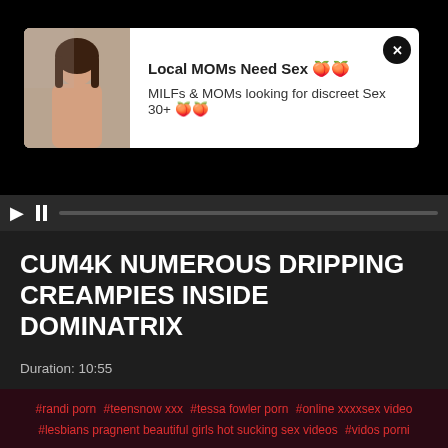[Figure (screenshot): Video player area showing black background with an advertisement popup overlay containing a woman's photo and text about Local MOMs Need Sex]
Local MOMs Need Sex 🍑🍑
MILFs & MOMs looking for discreet Sex 30+ 🍑🍑
CUM4K NUMEROUS DRIPPING CREAMPIES INSIDE DOMINATRIX
Duration: 10:55
Tags: BravoTube, blowjob, brunette
Added on: 2020-12-15
#randi porn #teensnow xxx #tessa fowler porn #online xxxxsex video #lesbians pragnent beautiful girls hot sucking sex videos #vidos porni